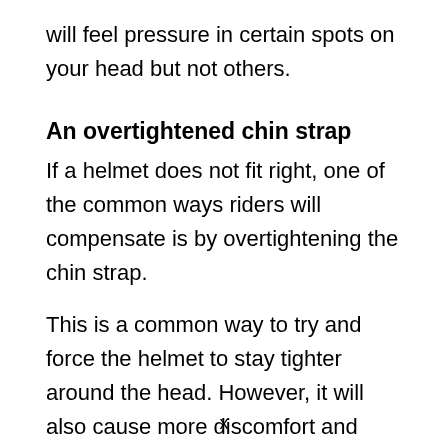will feel pressure in certain spots on your head but not others.
An overtightened chin strap
If a helmet does not fit right, one of the common ways riders will compensate is by overtightening the chin strap.
This is a common way to try and force the helmet to stay tighter around the head. However, it will also cause more discomfort and pressure points, hurting the head, and leading to headaches.
x